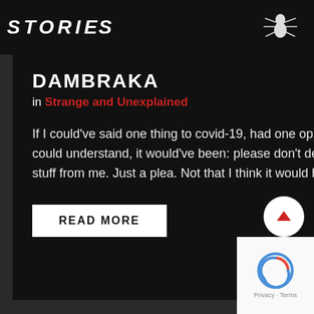STORIES
DAMBRAKA
in Strange and Unexplained
If I could've said one thing to covid-19, had one opportunity to deliver a message that the virus could understand, it would've been: please don't destroy my life. No posturing, no tough-guy stuff from me. Just a plea. Not that I think it would have…
READ MORE